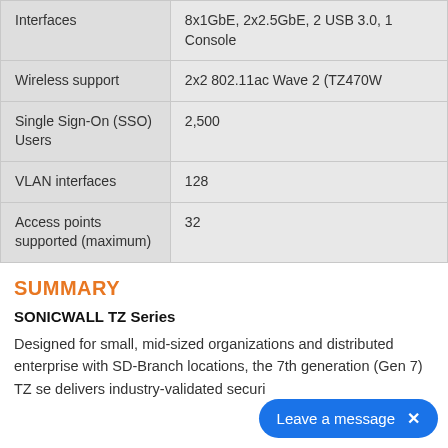| Interfaces | 8x1GbE, 2x2.5GbE, 2 USB 3.0, 1 Console |
| Wireless support | 2x2 802.11ac Wave 2 (TZ470W |
| Single Sign-On (SSO) Users | 2,500 |
| VLAN interfaces | 128 |
| Access points supported (maximum) | 32 |
SUMMARY
SONICWALL TZ Series
Designed for small, mid-sized organizations and distributed enterprise with SD-Branch locations, the 7th generation (Gen 7) TZ se... delivers industry-validated securi...